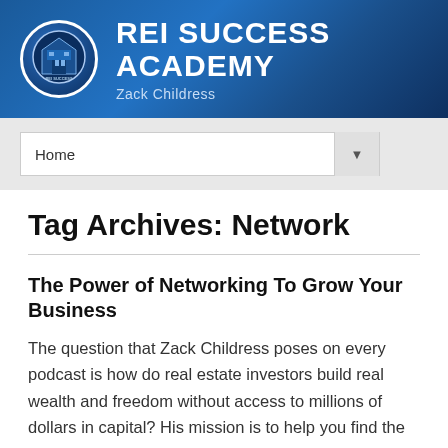[Figure (logo): REI Success Academy logo banner with shield/building emblem on blue gradient background, title 'REI SUCCESS ACADEMY' and subtitle 'Zack Childress']
Home
Tag Archives: Network
The Power of Networking To Grow Your Business
The question that Zack Childress poses on every podcast is how do real estate investors build real wealth and freedom without access to millions of dollars in capital? His mission is to help you find the answer. Today's podcast teaches that networking is crucial. It means you're really in the game. It's